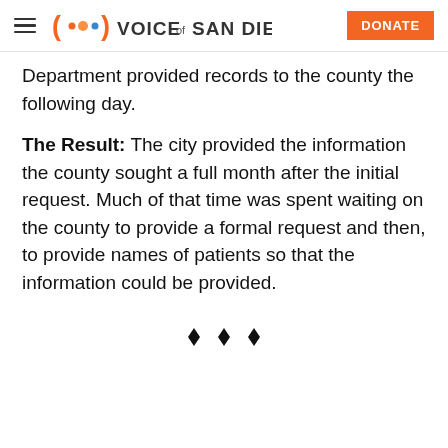Voice of San Diego — DONATE
Department provided records to the county the following day.
The Result: The city provided the information the county sought a full month after the initial request. Much of that time was spent waiting on the county to provide a formal request and then, to provide names of patients so that the information could be provided.
[Figure (illustration): Three black diamond bullet points centered as a section break]